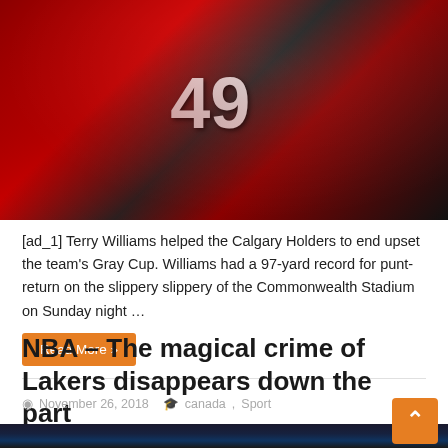[Figure (photo): Football celebration photo showing players in red jerseys, one wearing number 49, with crowd celebrating]
[ad_1] Terry Williams helped the Calgary Holders to end upset the team's Gray Cup. Williams had a 97-yard record for punt-return on the slippery slippery of the Commonwealth Stadium on Sunday night …
Read More »
NBA – The magical crime of Lakers disappears down the part
November 26, 2018  canada, Sport
[Figure (photo): NBA basketball player in Lakers uniform on court with dark background]